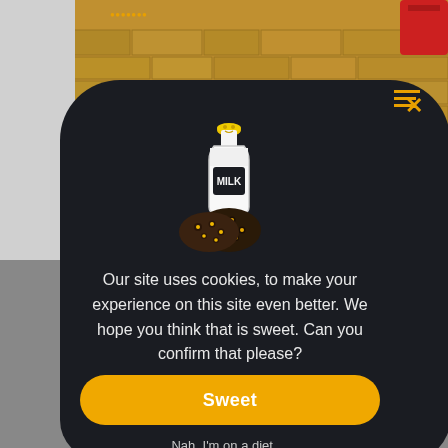[Figure (screenshot): Background photo of a stone wall with a wooden bench in front, partial view of a red object top right, and a grey left sidebar. This is a website background.]
[Figure (illustration): A cartoon milk bottle with a golden cap and a smiley face, labeled MILK, sitting next to two dark chocolate chip cookies with golden chips.]
Our site uses cookies, to make your experience on this site even better. We hope you think that is sweet. Can you confirm that please?
Sweet
Nah, I'm on a diet.